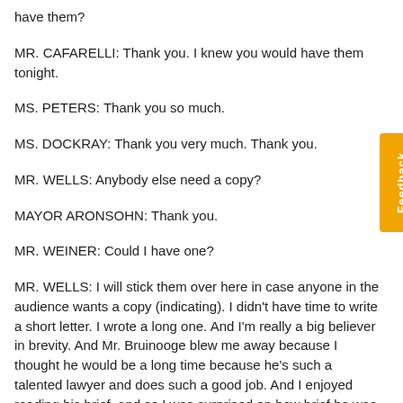have them?
MR. CAFARELLI: Thank you. I knew you would have them tonight.
MS. PETERS: Thank you so much.
MS. DOCKRAY: Thank you very much. Thank you.
MR. WELLS: Anybody else need a copy?
MAYOR ARONSOHN: Thank you.
MR. WEINER: Could I have one?
MR. WELLS: I will stick them over here in case anyone in the audience wants a copy (indicating). I didn't have time to write a short letter. I wrote a long one. And I'm really a big believer in brevity. And Mr. Bruinooge blew me away because I thought he would be a long time because he's such a talented lawyer and does such a good job. And I enjoyed reading his brief, and so I was surprised on how brief he was. And I'm not going to be that brief.